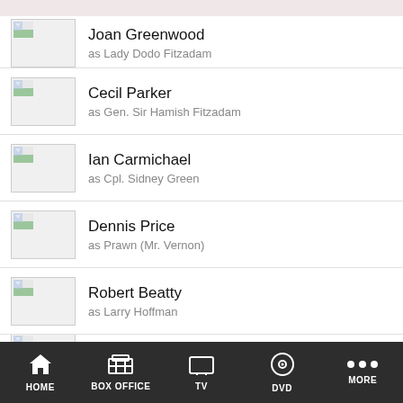Joan Greenwood as Lady Dodo Fitzadam
Cecil Parker as Gen. Sir Hamish Fitzadam
Ian Carmichael as Cpl. Sidney Green
Dennis Price as Prawn (Mr. Vernon)
Robert Beatty as Larry Hoffman
Liz Fraser
HOME   BOX OFFICE   TV   DVD   MORE